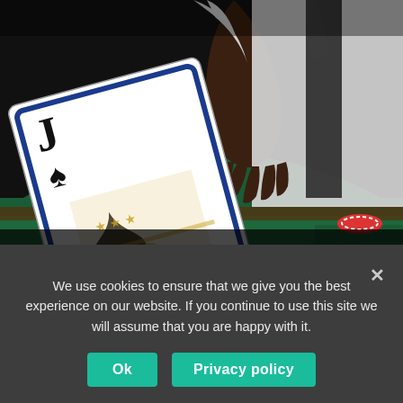[Figure (photo): A casino dealer's hand dealing playing cards on a green felt blackjack table. A large Jack of Spades card is visible on the left, and a Jack of Diamonds and 4 of Hearts are being tossed on the right. The dealer wears a white shirt and dark tie.]
Surprising Advantages Of Playing Cards
We use cookies to ensure that we give you the best experience on our website. If you continue to use this site we will assume that you are happy with it.